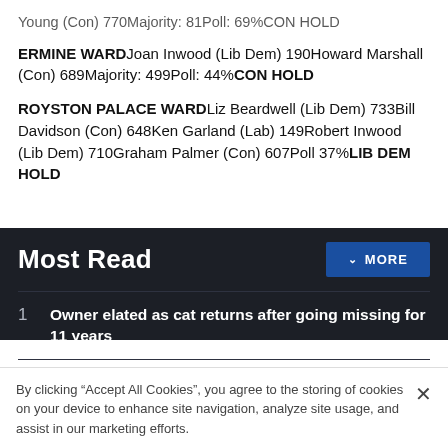Young (Con) 770Majority: 81Poll: 69%CON HOLD
ERMINE WARDJoan Inwood (Lib Dem) 190Howard Marshall (Con) 689Majority: 499Poll: 44%CON HOLD
ROYSTON PALACE WARDLiz Beardwell (Lib Dem) 733Bill Davidson (Con) 648Ken Garland (Lab) 149Robert Inwood (Lib Dem) 710Graham Palmer (Con) 607Poll 37%LIB DEM HOLD
Most Read
Owner elated as cat returns after going missing for 11 years
Street Food Heroes return to Royston
Life-saving defibrillator donated to Melbourn Park
By clicking “Accept All Cookies”, you agree to the storing of cookies on your device to enhance site navigation, analyze site usage, and assist in our marketing efforts.